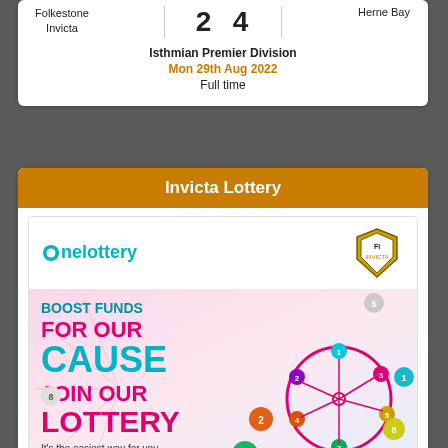Folkestone Invicta
2 – 4
Herne Bay
Isthmian Premier Division
Mon 29th Aug 2022
Full time
Invicta Lottery
[Figure (logo): onelottery brand logo in teal/cyan text]
[Figure (illustration): Invicta FC crest/shield badge in black, gold and white]
[Figure (infographic): Lottery promotional banner with text BOOST FUNDS FOR OUR CAUSE JOIN OUR LOTTERY It's the easiest way for you, with colorful numbered balls and a Ferris wheel lottery machine illustration on pink/pastel background]